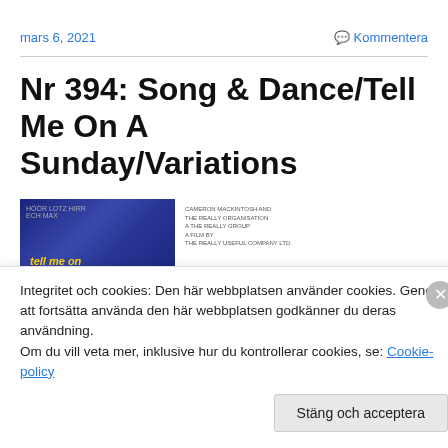mars 6, 2021
Kommentera
Nr 394: Song & Dance/Tell Me On A Sunday/Variations
[Figure (photo): Two album/show covers side by side: left is a blue/purple cover with yellow italic text 'tell me on a sunday', right is a white cover with red italic large text 'PETERS' and small black producer/company credits at top left]
Integritet och cookies: Den här webbplatsen använder cookies. Genom att fortsätta använda den här webbplatsen godkänner du deras användning.
Om du vill veta mer, inklusive hur du kontrollerar cookies, se: Cookie-policy
Stäng och acceptera